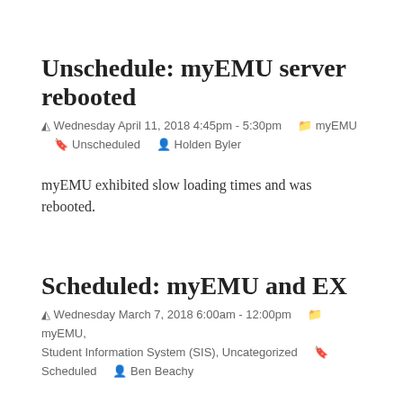Unschedule: myEMU server rebooted
Wednesday April 11, 2018 4:45pm - 5:30pm   myEMU   Unscheduled   Holden Byler
myEMU exhibited slow loading times and was rebooted.
Scheduled: myEMU and EX
Wednesday March 7, 2018 6:00am - 12:00pm   myEMU, Student Information System (SIS), Uncategorized   Scheduled   Ben Beachy